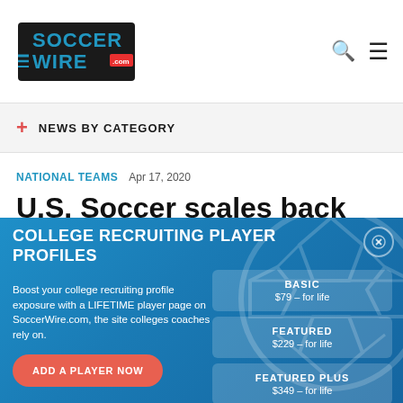SoccerWire.com
NEWS BY CATEGORY
NATIONAL TEAMS  Apr 17, 2020
U.S. Soccer scales back USYNT
[Figure (infographic): College Recruiting Player Profiles promotional overlay with pricing tiers: BASIC $79 for life, FEATURED $229 for life, FEATURED PLUS $349 for life. Includes ADD A PLAYER NOW button and descriptive text about boosting college recruiting profile exposure on SoccerWire.com.]